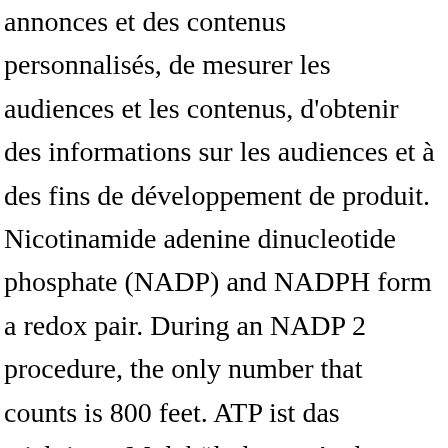annonces et des contenus personnalisés, de mesurer les audiences et les contenus, d'obtenir des informations sur les audiences et à des fins de développement de produit. Nicotinamide adenine dinucleotide phosphate (NADP) and NADPH form a redox pair. During an NADP 2 procedure, the only number that counts is 800 feet. ATP ist das wichtigste Molekül, das … And tnx for your describe about my next question that is : what's the difference between NADH and FADH2 in working of living cell in the respiration reaction ?!